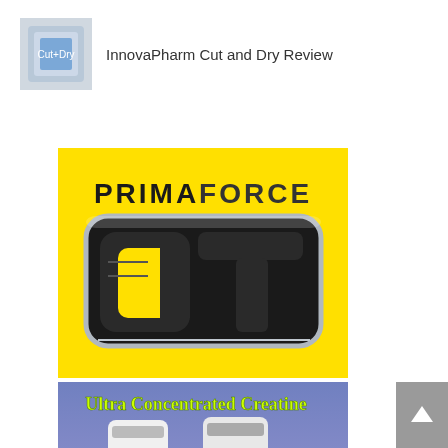[Figure (other): Thumbnail image of InnovaPharm Cut and Dry supplement product]
InnovaPharm Cut and Dry Review
[Figure (logo): PrimaForce logo on yellow background with large stylized CT emblem in black and chrome]
[Figure (photo): SNS Ultra Concentrated Creatine advertisement showing two white supplement bottles labeled SNS Creatine HCl on a blue/purple gradient background with green and yellow text reading Ultra Concentrated Creatine]